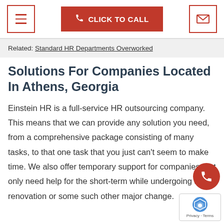☰  CLICK TO CALL  ✉
Related: Standard HR Departments Overworked
Solutions For Companies Located In Athens, Georgia
Einstein HR is a full-service HR outsourcing company. This means that we can provide any solution you need, from a comprehensive package consisting of many tasks, to that one task that you just can't seem to make time. We also offer temporary support for companies that only need help for the short-term while undergoing a renovation or some such other major change.